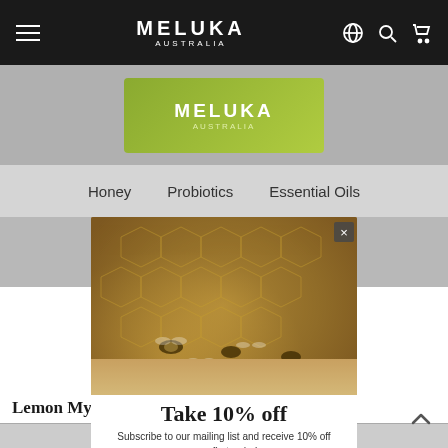MELUKA AUSTRALIA — navigation bar with hamburger menu, logo, globe, search, cart icons
[Figure (screenshot): Meluka Australia product label with green packaging showing 'MELUKA AUSTRALIA' branding]
Honey    Probiotics    Essential Oils
[Figure (screenshot): Honey jar label — RAW HONEY BOTANICAL COLLECTION, Net Weight: 9.7oz / 275g]
[Figure (photo): Close-up photo of bees on honeycomb with warm golden/amber tones. A popup modal overlays the lower portion.]
Take 10% off
Subscribe to our mailing list and receive 10% off your first order!
Email Address *
Name
Lemon Myrtle Infused Raw Honey
$19.95